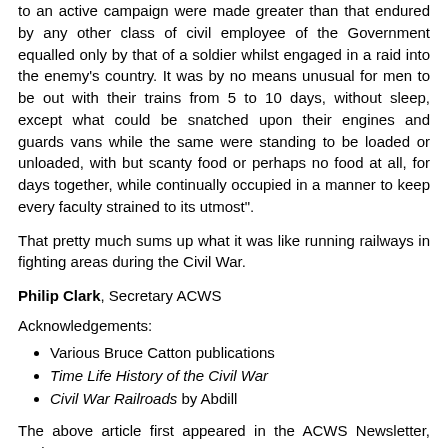to an active campaign were made greater than that endured by any other class of civil employee of the Government equalled only by that of a soldier whilst engaged in a raid into the enemy's country. It was by no means unusual for men to be out with their trains from 5 to 10 days, without sleep, except what could be snatched upon their engines and guards vans while the same were standing to be loaded or unloaded, with but scanty food or perhaps no food at all, for days together, while continually occupied in a manner to keep every faculty strained to its utmost".
That pretty much sums up what it was like running railways in fighting areas during the Civil War.
Philip Clark, Secretary ACWS
Acknowledgements:
Various Bruce Catton publications
Time Life History of the Civil War
Civil War Railroads by Abdill
The above article first appeared in the ACWS Newsletter, Spring 2009